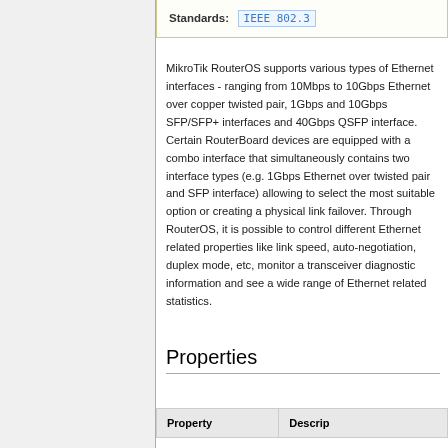| Standards: |
| --- |
| IEEE 802.3 |
MikroTik RouterOS supports various types of Ethernet interfaces - ranging from 10Mbps to 10Gbps Ethernet over copper twisted pair, 1Gbps and 10Gbps SFP/SFP+ interfaces and 40Gbps QSFP interface. Certain RouterBoard devices are equipped with a combo interface that simultaneously contains two interface types (e.g. 1Gbps Ethernet over twisted pair and SFP interface) allowing to select the most suitable option or creating a physical link failover. Through RouterOS, it is possible to control different Ethernet related properties like link speed, auto-negotiation, duplex mode, etc, monitor a transceiver diagnostic information and see a wide range of Ethernet related statistics.
Properties
| Property | Descrip... |
| --- | --- |